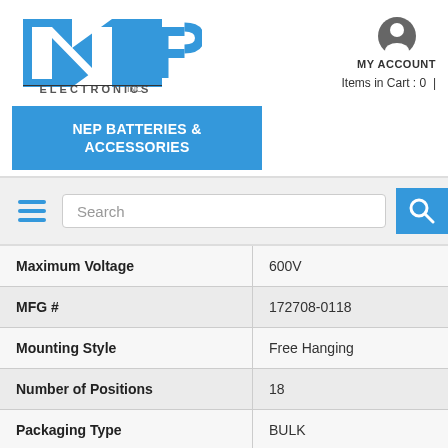[Figure (logo): NEP Electronics Inc. logo in blue and dark grey]
[Figure (illustration): MY ACCOUNT icon (person silhouette) with label MY ACCOUNT]
NEP BATTERIES & ACCESSORIES
Items in Cart : 0  |
[Figure (illustration): Hamburger menu icon (three blue horizontal lines)]
Search
[Figure (illustration): Search magnifying glass icon on blue background]
| Attribute | Value |
| --- | --- |
| Maximum Voltage | 600V |
| MFG # | 172708-0118 |
| Mounting Style | Free Hanging |
| Number of Positions | 18 |
| Packaging Type | BULK |
| Pitch | 4.20mm (.165) |
| Polarized to Mating Part | True |